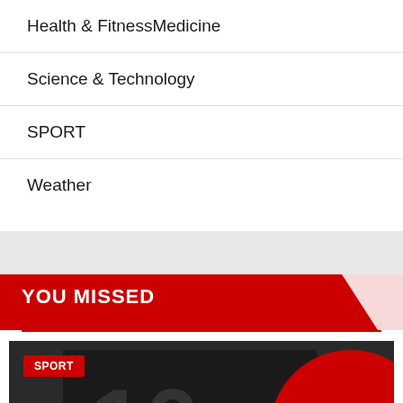Health & FitnessMedicine
Science & Technology
SPORT
Weather
YOU MISSED
SPORT
Rating the NFL's 10 greatest defensive traces heading